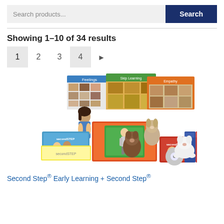Search products...
Showing 1–10 of 34 results
1  2  3  4  ▶
[Figure (photo): Collection of Second Step educational curriculum products including books, boxes, puppets, stuffed animals, DVDs and classroom materials spread out in a display arrangement.]
Second Step® Early Learning + Second Step®